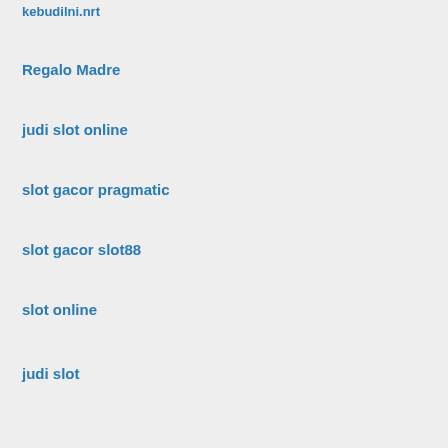kebudilni.nrt
Regalo Madre
judi slot online
slot gacor pragmatic
slot gacor slot88
slot online
judi slot